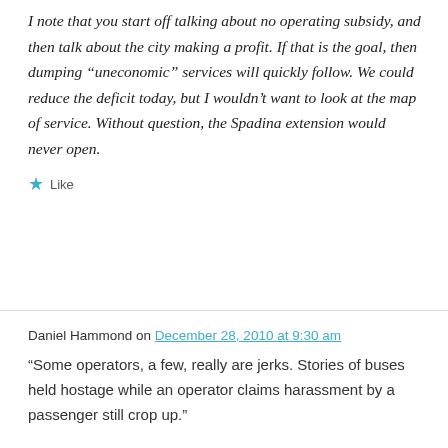I note that you start off talking about no operating subsidy, and then talk about the city making a profit. If that is the goal, then dumping “uneconomic” services will quickly follow. We could reduce the deficit today, but I wouldn’t want to look at the map of service. Without question, the Spadina extension would never open.
★ Like
Daniel Hammond on December 28, 2010 at 9:30 am
“Some operators, a few, really are jerks. Stories of buses held hostage while an operator claims harassment by a passenger still crop up.”